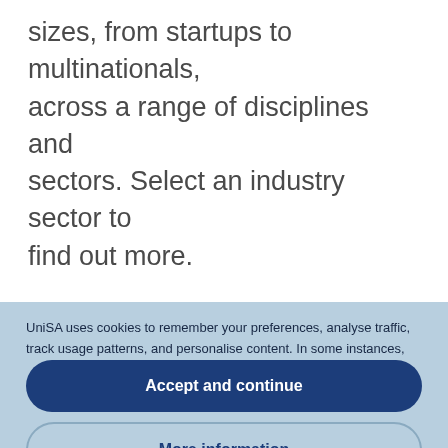sizes, from startups to multinationals, across a range of disciplines and sectors. Select an industry sector to find out more.
UniSA uses cookies to remember your preferences, analyse traffic, track usage patterns, and personalise content. In some instances, UniSA shares personal information collected by cookies with UniSA's third party service providers. See our privacy notification for further details. To adjust your cookie settings, click 'More information'. By clicking 'Accept and continue', you consent to our use of cookies.
Accept and continue
More information